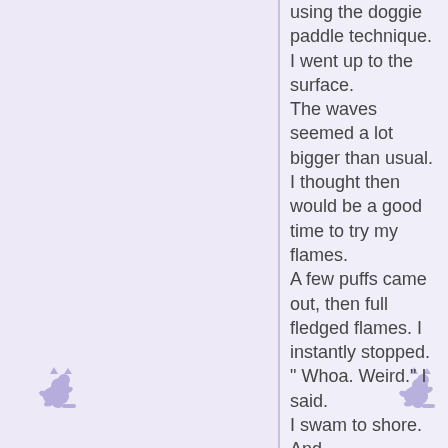[Figure (illustration): Small purple dragon illustration, upper left area]
[Figure (illustration): Small purple dragon illustration, upper right area]
[Figure (illustration): Small purple dragon illustration, lower left area]
[Figure (illustration): Small purple dragon illustration, lower right area]
using the doggie paddle technique. I went up to the surface. The waves seemed a lot bigger than usual. I thought then would be a good time to try my flames. A few puffs came out, then full fledged flames. I instantly stopped. " Whoa. Weird." I said. I swam to shore. And